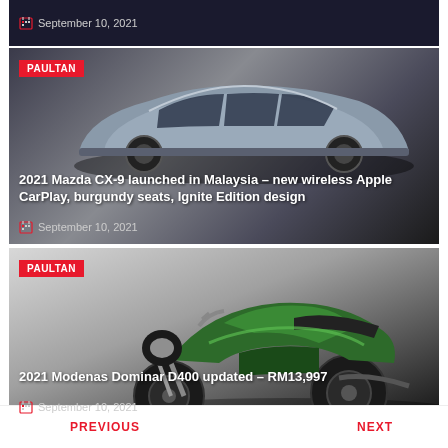[Figure (screenshot): Partial top card with dark background showing date September 10, 2021]
September 10, 2021
[Figure (photo): 2021 Mazda CX-9 silver SUV on dark background with PAULTAN badge]
2021 Mazda CX-9 launched in Malaysia – new wireless Apple CarPlay, burgundy seats, Ignite Edition design
September 10, 2021
[Figure (photo): 2021 Modenas Dominar D400 green motorcycle on grey background with PAULTAN badge]
2021 Modenas Dominar D400 updated – RM13,997
September 10, 2021
PREVIOUS   NEXT